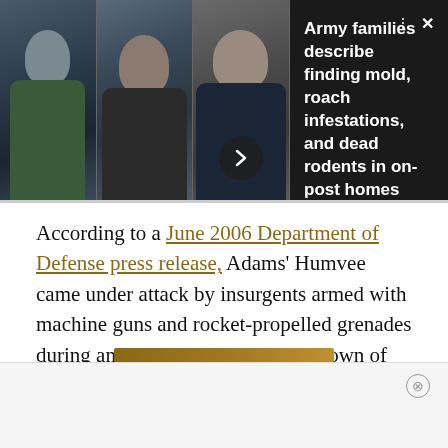[Figure (photo): Three military personnel photos in a horizontal strip with navigation arrow button]
Army families describe finding mold, roach infestations, and dead rodents in on-post homes
According to a June 2006 Department of Defense press release, Adams' Humvee came under attack by insurgents armed with machine guns and rocket-propelled grenades during an ambush in Husaybah, a town of 50,000 people in Anbar province, Iraq.
[Figure (photo): Partial image at bottom, cropped]
[Figure (other): Advertisement banner at bottom of page with close button]